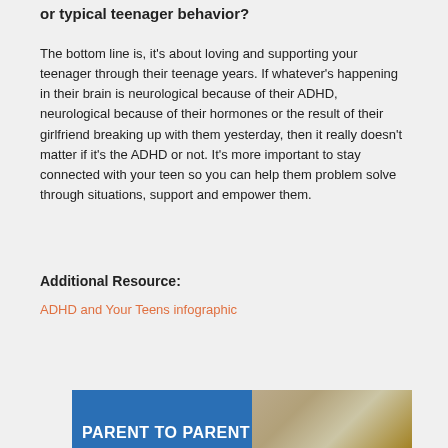or typical teenager behavior?
The bottom line is, it's about loving and supporting your teenager through their teenage years. If whatever's happening in their brain is neurological because of their ADHD, neurological because of their hormones or the result of their girlfriend breaking up with them yesterday, then it really doesn't matter if it's the ADHD or not. It's more important to stay connected with your teen so you can help them problem solve through situations, support and empower them.
Additional Resource:
ADHD and Your Teens infographic
[Figure (other): Banner image with blue background showing text 'PARENT TO PARENT' in white bold letters and a partial food/snack image on the right side]